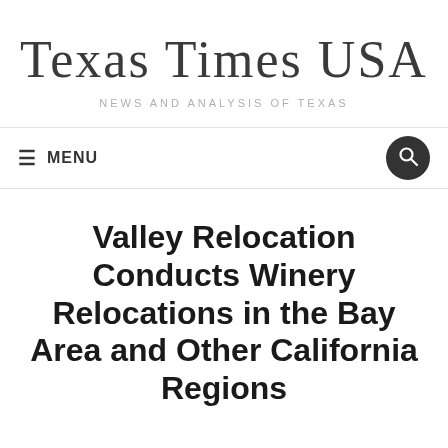Texas Times USA
NEWS AND ANALYSIS OF TEXAS
≡ MENU
Valley Relocation Conducts Winery Relocations in the Bay Area and Other California Regions